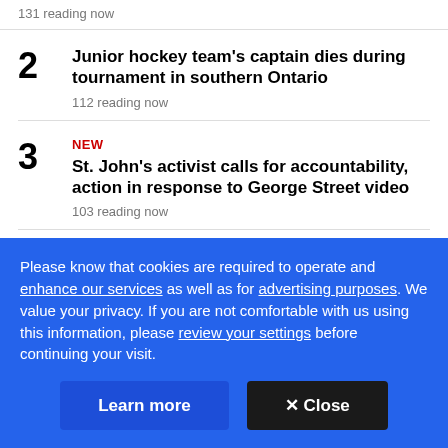131 reading now
2 Junior hockey team's captain dies during tournament in southern Ontario
112 reading now
3 NEW
St. John's activist calls for accountability, action in response to George Street video
103 reading now
4 3 OPP officers charged with manslaughter in toddler's
Please know that cookies are required to operate and enhance our services as well as for advertising purposes. We value your privacy. If you are not comfortable with us using this information, please review your settings before continuing your visit.